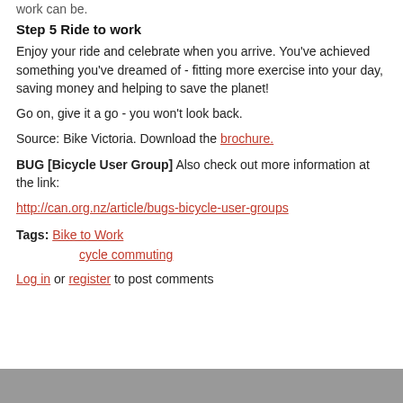work can be.
Step 5 Ride to work
Enjoy your ride and celebrate when you arrive. You've achieved something you've dreamed of - fitting more exercise into your day, saving money and helping to save the planet!
Go on, give it a go - you won't look back.
Source: Bike Victoria. Download the brochure.
BUG [Bicycle User Group] Also check out more information at the link:
http://can.org.nz/article/bugs-bicycle-user-groups
Tags: Bike to Work
cycle commuting
Log in or register to post comments